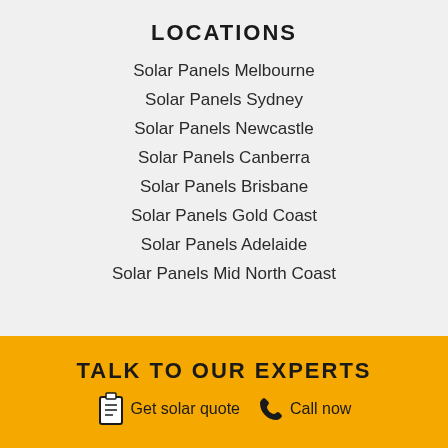LOCATIONS
Solar Panels Melbourne
Solar Panels Sydney
Solar Panels Newcastle
Solar Panels Canberra
Solar Panels Brisbane
Solar Panels Gold Coast
Solar Panels Adelaide
Solar Panels Mid North Coast
TALK TO OUR EXPERTS  Get solar quote  Call now